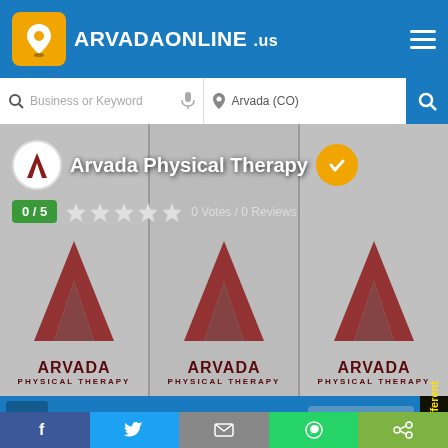ARVADAONLINE .us
Business or Keyword  Arvada (CO)
[Figure (screenshot): Listing banner showing three Arvada Physical Therapy logo tiles with the business name overlay, 0/5 rating badge, star rating, and 0 Votes / 0 Reviews text]
Menu
Send Enquiry
We are different